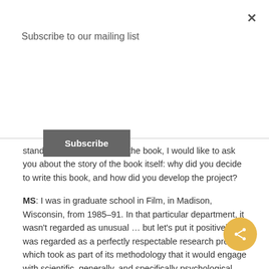Subscribe to our mailing list
Subscribe
standpoints you develop in the book, I would like to ask you about the story of the book itself: why did you decide to write this book, and how did you develop the project?
MS: I was in graduate school in Film, in Madison, Wisconsin, from 1985–91. In that particular department, it wasn't regarded as unusual … but let's put it positively: it was regarded as a perfectly respectable research project which took as part of its methodology that it would engage with scientific, generally, and specifically psychological, research. This was the moment